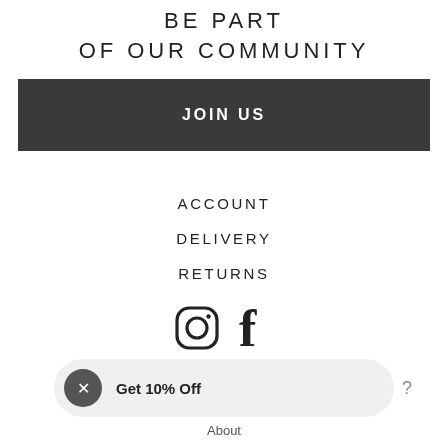BE PART OF OUR COMMUNITY
JOIN US
ACCOUNT
DELIVERY
RETURNS
[Figure (illustration): Instagram and Facebook social media icons]
Get 10% Off
About